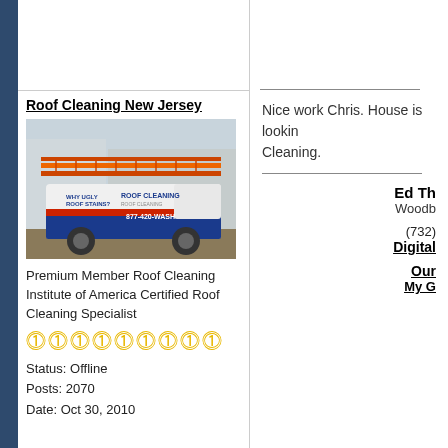Roof Cleaning New Jersey
[Figure (photo): A white and blue service van with ladders on top, branded for roof cleaning services, parked outside a building. Phone number 877-420-WASH visible on the side.]
Premium Member Roof Cleaning Institute of America Certified Roof Cleaning Specialist
Status: Offline
Posts: 2070
Date: Oct 30, 2010
Nice work Chris. House is looking great after the Roof Cleaning.
Ed Th
Woodbr
(732)
Digital
Our
My G